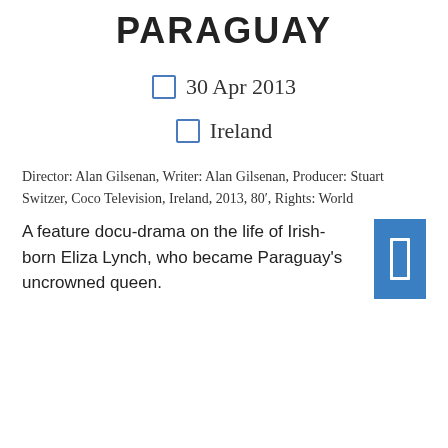PARAGUAY
30 Apr 2013
Ireland
Director: Alan Gilsenan, Writer: Alan Gilsenan, Producer: Stuart Switzer, Coco Television, Ireland, 2013, 80′, Rights: World
A feature docu-drama on the life of Irish-born Eliza Lynch, who became Paraguay's uncrowned queen.